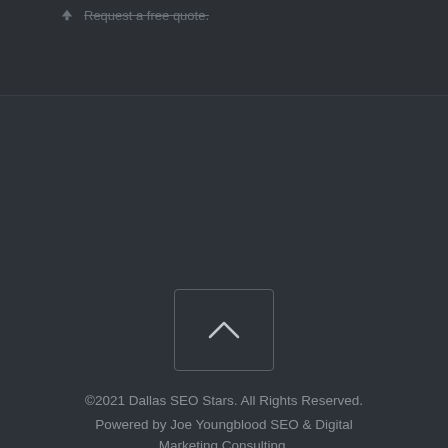Request a free quote.
[Figure (illustration): A rounded square button with a chevron/caret pointing upward, used as a scroll-to-top button. The button has a dark background with a light gray border and a white/light chevron icon inside.]
©2021 Dallas SEO Stars. All Rights Reserved. Powered by Joe Youngblood SEO & Digital Marketing Consulting.